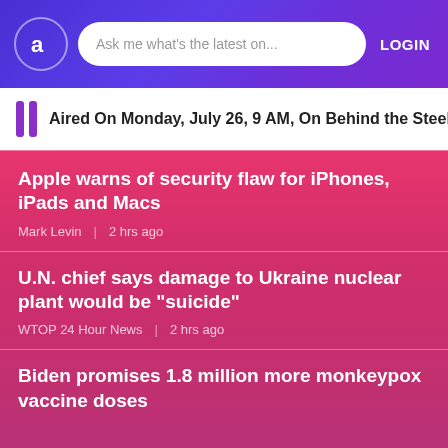Ask me what's the latest on...  LOGIN
Aired On Monday, July 26, 9 AM, On Behind the Steel C
Apple warns of security flaw for iPhones, iPads and Macs
Mark Levin   2 hrs ago
U.N. chief says damage to Ukraine nuclear plant would be "suicide"
WTOP 24 Hour News   2 hrs ago
Biden promises 1.8 million more monkeypox vaccine doses